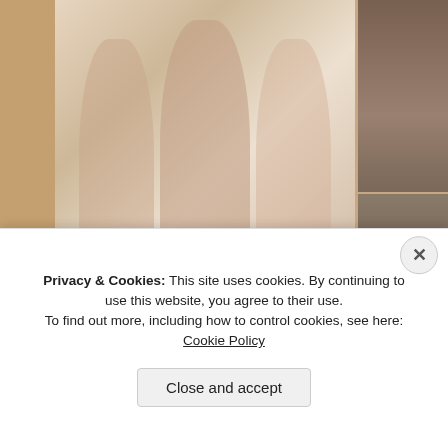[Figure (photo): Second Life virtual fashion product image showing male avatar in pink/beige bomber jacket with white pants and grey beanie hat, shown from multiple angles. Logos for Belleza, SLink, Classic FitMesh displayed. Black banner at bottom reads: FABIAN outfit 3 w shoes, SLink - Belleza - Classic / FitMesh, Gamit - Signature - Gnupup - Adin, ALB, AnaLee Bahit]
[Figure (photo): Right column top thumbnail: male avatar in dark outfit, virtual fashion website sidebar]
[Figure (photo): Right column bottom thumbnail: male avatar in dark hoodie, kneeling pose, virtual fashion website sidebar]
[Figure (photo): Bottom row thumbnails partially visible]
Privacy & Cookies: This site uses cookies. By continuing to use this website, you agree to their use.
To find out more, including how to control cookies, see here: Cookie Policy
Close and accept